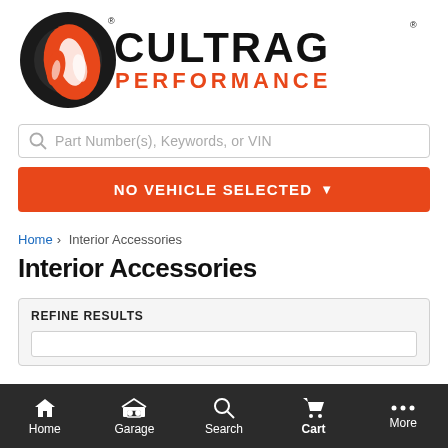[Figure (logo): Cultrag Performance logo with orange flame and tire graphic on left, bold black CULTRAG text and orange PERFORMANCE text on right]
Part Number(s), Keywords, or VIN
NO VEHICLE SELECTED
Home > Interior Accessories
Interior Accessories
REFINE RESULTS
Home  Garage  Search  Cart  More